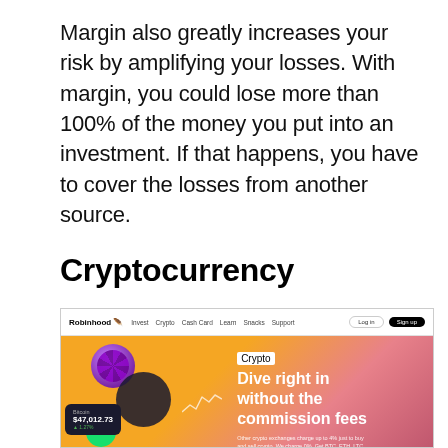Margin also greatly increases your risk by amplifying your losses. With margin, you could lose more than 100% of the money you put into an investment. If that happens, you have to cover the losses from another source.
Cryptocurrency
[Figure (screenshot): Screenshot of the Robinhood website crypto landing page showing the navigation bar with links (Invest, Crypto, Cash Card, Learn, Snacks, Support), and a hero section with an orange-to-pink gradient background featuring a woman with sunglasses, a purple coin, the text 'Crypto - Dive right in without the commission fees', and a Bitcoin price card showing $47,012.73.]